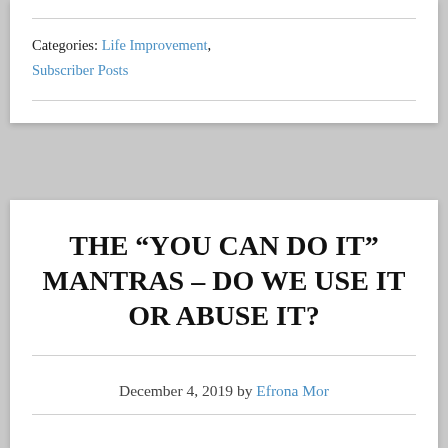Categories: Life Improvement, Subscriber Posts
THE “YOU CAN DO IT” MANTRAS – DO WE USE IT OR ABUSE IT?
December 4, 2019 by Efrona Mor